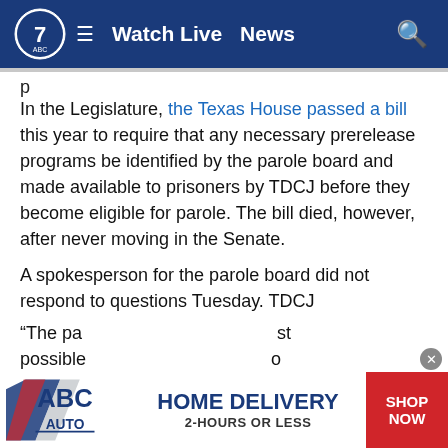Watch Live  News
p
In the Legislature, the Texas House passed a bill this year to require that any necessary prerelease programs be identified by the parole board and made available to prisoners by TDCJ before they become eligible for parole. The bill died, however, after never moving in the Senate.
A spokesperson for the parole board did not respond to questions Tuesday. TDCJ spokesperson Jeremy Desel said the agency provides programming that is mandated by the parole board, and acknowledged the pandemic “absolutely” presented challenges to parole releases. He added that the state has a low rate of people released from prison being reincarcerated within three years.
“The pa…st possible…o
[Figure (screenshot): ABC Auto HOME DELIVERY 2-HOURS OR LESS advertisement banner with SHOP NOW red button]